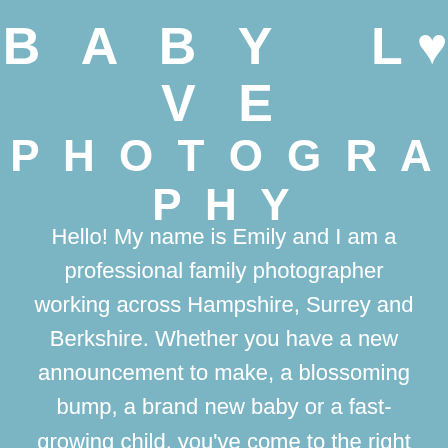Baby Love Photography
Hello! My name is Emily and I am a professional family photographer working across Hampshire, Surrey and Berkshire. Whether you have a new announcement to make, a blossoming bump, a brand new baby or a fast-growing child, you've come to the right place. I photograph kids of all ages and the whole family too, so why get everyone involved – it's a magical time